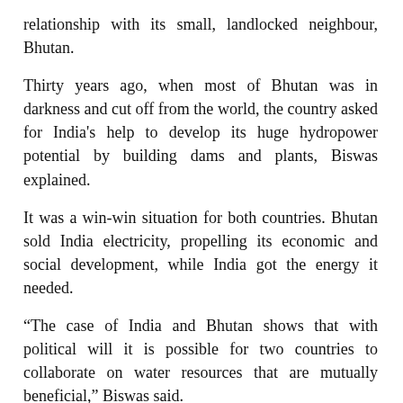relationship with its small, landlocked neighbour, Bhutan.
Thirty years ago, when most of Bhutan was in darkness and cut off from the world, the country asked for India's help to develop its huge hydropower potential by building dams and plants, Biswas explained.
It was a win-win situation for both countries. Bhutan sold India electricity, propelling its economic and social development, while India got the energy it needed.
“The case of India and Bhutan shows that with political will it is possible for two countries to collaborate on water resources that are mutually beneficial,” Biswas said.
Another often cited case of two countries cooperating over water is Bolivia and Peru, whose borders share Lake Titicaca, the largest freshwater lake in South America.